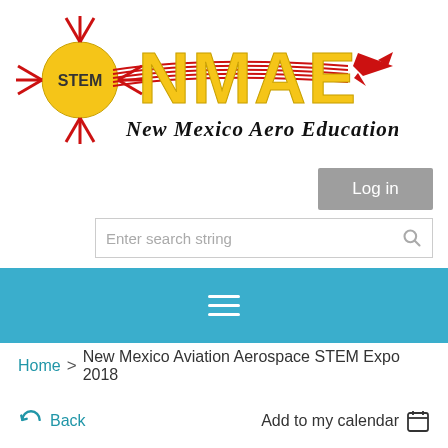[Figure (logo): NMAE - New Mexico Aero Education logo with STEM badge, red sun/zia design, yellow NMAE letters, red airplane silhouette, and italic black text 'New Mexico Aero Education']
[Figure (screenshot): Log in button - gray rectangular button with white text 'Log in']
[Figure (screenshot): Search bar with placeholder text 'Enter search string' and magnifying glass icon]
[Figure (screenshot): Teal/cyan navigation bar with hamburger menu icon (three horizontal white lines)]
Home > New Mexico Aviation Aerospace STEM Expo 2018
Back
Add to my calendar